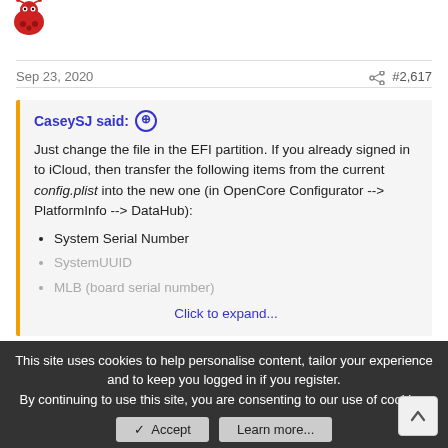[Figure (illustration): Red cartoon bug/avatar icon at top left]
Sep 23, 2020
#2,617
CaseySJ said: ↑
Just change the file in the EFI partition. If you already signed in to iCloud, then transfer the following items from the current config.plist into the new one (in OpenCore Configurator --> PlatformInfo --> DataHub):
• System Serial Number
• SystemUUID
• MLB (board serial number)
Click to expand...
Thanks a lot
May I ask what is the best way to do that? Open both files...
This site uses cookies to help personalise content, tailor your experience and to keep you logged in if you register.
By continuing to use this site, you are consenting to our use of cookies.
✓ Accept
Learn more...